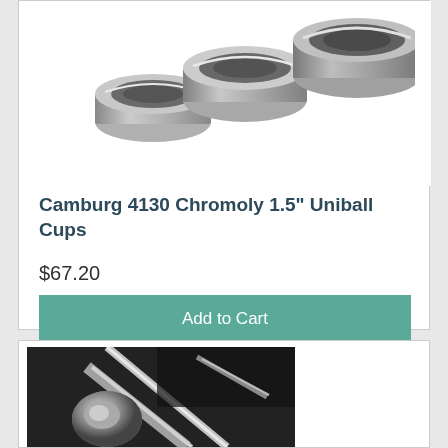[Figure (photo): Three stainless steel/chromoly uniball cup inserts arranged in a row, metallic silver color, product photo on white background]
Camburg 4130 Chromoly 1.5" Uniball Cups
$67.20
Add to Cart
[Figure (photo): Partial photo of vehicle undercarriage showing chrome/metallic suspension or steering components, close-up mechanical view]